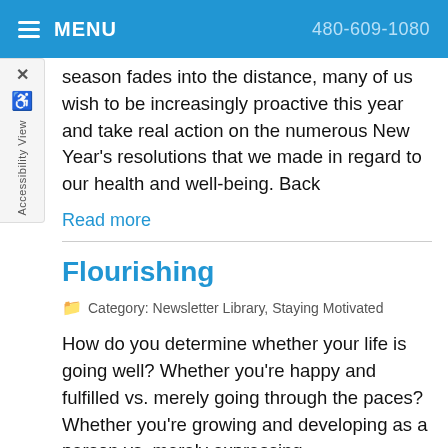MENU | 480-609-1080
season fades into the distance, many of us wish to be increasingly proactive this year and take real action on the numerous New Year's resolutions that we made in regard to our health and well-being. Back
Read more
Flourishing
Category: Newsletter Library, Staying Motivated
How do you determine whether your life is going well? Whether you're happy and fulfilled vs. merely going through the paces? Whether you're growing and developing as a person vs. merely expressing